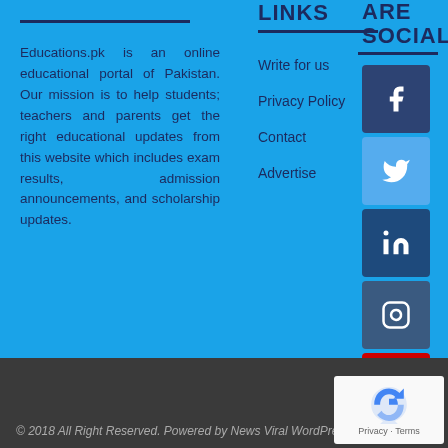Educations.pk is an online educational portal of Pakistan. Our mission is to help students; teachers and parents get the right educational updates from this website which includes exam results, admission announcements, and scholarship updates.
LINKS
Write for us
Privacy Policy
Contact
Advertise
ARE SOCIAL
© 2018 All Right Reserved. Powered by News Viral WordPre...